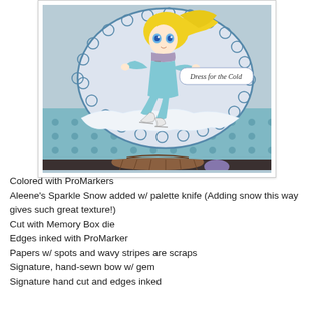[Figure (photo): A handmade greeting card featuring an anime-style girl with blonde hair wearing a light blue outfit and ice skates, posed on sparkle snow. A scalloped oval frame with text 'Dress for the Cold' is visible. Background paper has a teal polka-dot pattern.]
Colored with ProMarkers
Aleene's Sparkle Snow added w/ palette knife (Adding snow this way gives such great texture!)
Cut with Memory Box die
Edges inked with ProMarker
Papers w/ spots and wavy stripes are scraps
Signature, hand-sewn bow w/ gem
Signature hand cut and edges inked